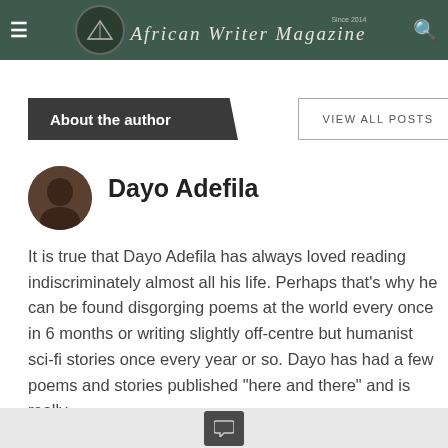African Writer Magazine
About the author
VIEW ALL POSTS
Dayo Adefila
It is true that Dayo Adefila has always loved reading indiscriminately almost all his life. Perhaps that's why he can be found disgorging poems at the world every once in 6 months or writing slightly off-centre but humanist sci-fi stories once every year or so. Dayo has had a few poems and stories published "here and there" and is really